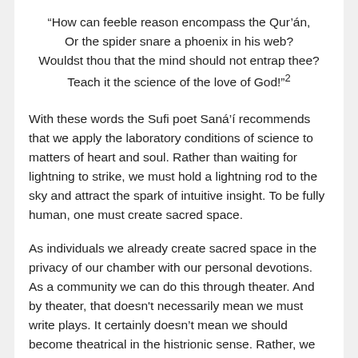“How can feeble reason encompass the Qur’án, Or the spider snare a phoenix in his web? Wouldst thou that the mind should not entrap thee? Teach it the science of the love of God!”2
With these words the Sufi poet Saná’í recommends that we apply the laboratory conditions of science to matters of heart and soul. Rather than waiting for lightning to strike, we must hold a lightning rod to the sky and attract the spark of intuitive insight. To be fully human, one must create sacred space.
As individuals we already create sacred space in the privacy of our chamber with our personal devotions. As a community we can do this through theater. And by theater, that doesn't necessarily mean we must write plays. It certainly doesn’t mean we should become theatrical in the histrionic sense. Rather, we can borrow the elements of theater — music, movement, imagery, story telling — to create a laboratory setting to facilitate an encounter with the Ineffable. After all, we take time